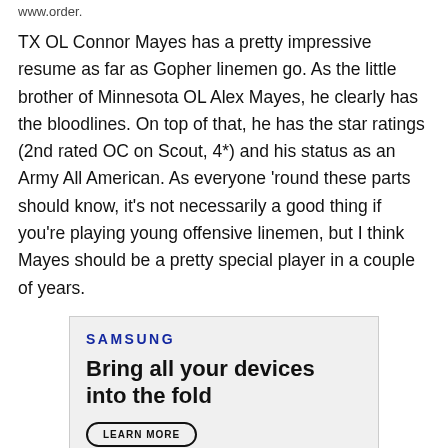www.order.
TX OL Connor Mayes has a pretty impressive resume as far as Gopher linemen go. As the little brother of Minnesota OL Alex Mayes, he clearly has the bloodlines. On top of that, he has the star ratings (2nd rated OC on Scout, 4*) and his status as an Army All American. As everyone 'round these parts should know, it's not necessarily a good thing if you're playing young offensive linemen, but I think Mayes should be a pretty special player in a couple of years.
[Figure (infographic): Samsung advertisement with logo, tagline 'Bring all your devices into the fold', a Learn More button, and partial product/people images at the bottom.]